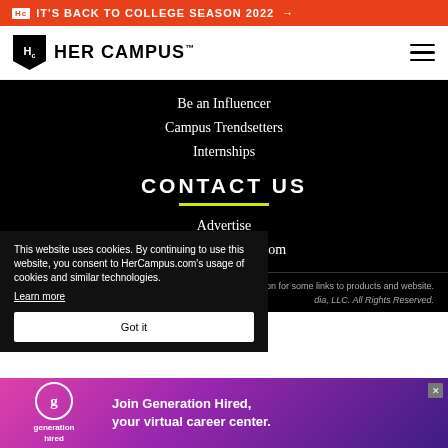🔲 IT'S BACK TO COLLEGE SEASON 2022 →
HER CAMPUS
Be an Influencer
Campus Trendsetters
Internships
CONTACT US
Advertise
Info@hercampus.com
This website uses cookies. By continuing to use this website, you consent to HerCampus.com's usage of cookies and similar technologies. Learn more
Got it
on for some links to products and website. dia, LLC. All Rights Reserved.
[Figure (infographic): Generation Hired advertisement banner: Join Generation Hired, your virtual career center.]